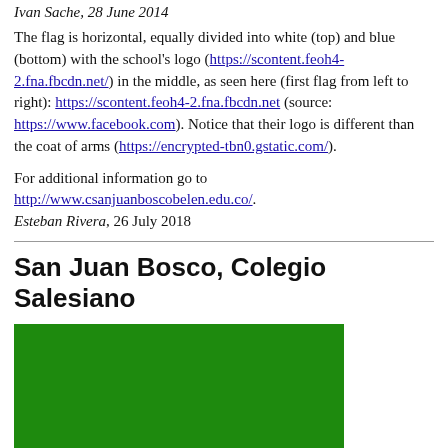Ivan Sache, 28 June 2014
The flag is horizontal, equally divided into white (top) and blue (bottom) with the school's logo (https://scontent.feoh4-2.fna.fbcdn.net/) in the middle, as seen here (first flag from left to right): https://scontent.feoh4-2.fna.fbcdn.net (source: https://www.facebook.com). Notice that their logo is different than the coat of arms (https://encrypted-tbn0.gstatic.com/).
For additional information go to http://www.csanjuanboscobelen.edu.co/.
Esteban Rivera, 26 July 2018
San Juan Bosco, Colegio Salesiano
[Figure (illustration): A flag showing a green upper half and white lower portion, rectangular shape approximately 330x180px]